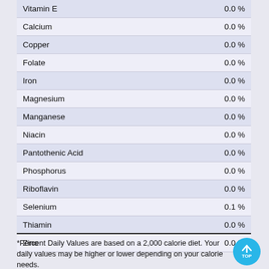| Nutrient | % Daily Value |
| --- | --- |
| Vitamin E | 0.0 % |
| Calcium | 0.0 % |
| Copper | 0.0 % |
| Folate | 0.0 % |
| Iron | 0.0 % |
| Magnesium | 0.0 % |
| Manganese | 0.0 % |
| Niacin | 0.0 % |
| Pantothenic Acid | 0.0 % |
| Phosphorus | 0.0 % |
| Riboflavin | 0.0 % |
| Selenium | 0.1 % |
| Thiamin | 0.0 % |
| Zinc | 0.0 % |
*Percent Daily Values are based on a 2,000 calorie diet. Your daily values may be higher or lower depending on your calorie needs.